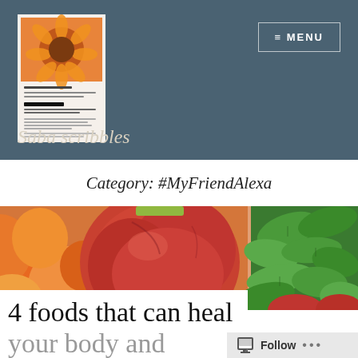[Figure (screenshot): Website screenshot of 'Saba scribbles' blog showing header with book cover image on dark teal/slate background, menu button top right, site title 'Saba scribbles' in italic, category heading '#MyFriendAlexa', a food photo showing fruits and vegetables (peaches, tomatoes, green peppers), and article title '4 foods that can heal your body and build...' with a Follow button at bottom right]
Saba scribbles
Category: #MyFriendAlexa
[Figure (photo): Close-up photo of colorful fruits and vegetables: orange peaches/apricots on left, large red tomatoes/peaches in center, and bright green bell peppers/leaves on right]
4 foods that can heal your body and build...